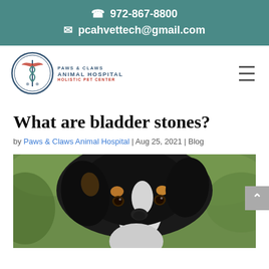972-867-8800
pcahvettech@gmail.com
[Figure (logo): Paws & Claws Animal Hospital Holistic Pet Center circular logo with caduceus and animal imagery]
What are bladder stones?
by Paws & Claws Animal Hospital | Aug 25, 2021 | Blog
[Figure (photo): Close-up photo of a Bernese Mountain Dog or similar black, white and tan dog looking at camera with blurred green foliage background]